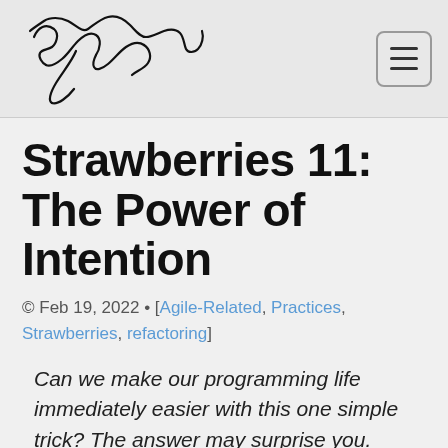[Figure (logo): Handwritten signature logo of Ron Jeffries in black ink on a light gray header background]
Strawberries 11: The Power of Intention
© Feb 19, 2022 • [Agile-Related, Practices, Strawberries, refactoring]
Can we make our programming life immediately easier with this one simple trick? The answer may surprise you.